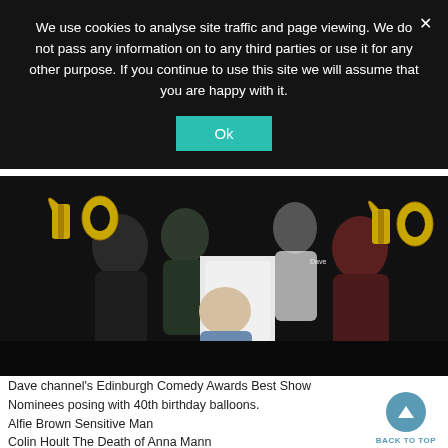We use cookies to analyse site traffic and page viewing. We do not pass any information on to any third parties or use it for any other purpose. If you continue to use this site we will assume that you are happy with it.
[Figure (photo): Group photo of Dave channel's Edinburgh Comedy Awards Best Show Nominees posing with gold '40' birthday balloons in front of an Edinburgh Comedy Awards banner.]
Dave channel's Edinburgh Comedy Awards Best Show Nominees posing with 40th birthday balloons.
Alfie Brown Sensitive Man
Colin Hoult The Death of Anna Mann
The Delightful Sausage Nowt but Sea
Jordan Gray Is It a Bird?
Josh Pugh Sausage, Egg, Josh Pugh, Chips and Beans